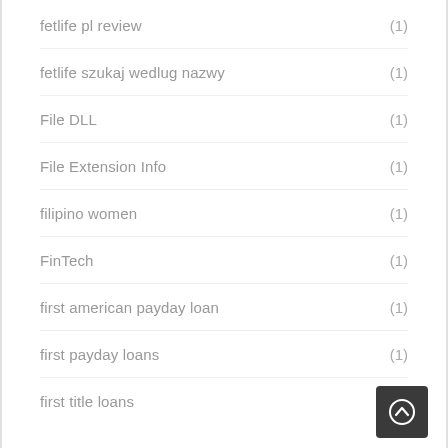fetlife pl review (1)
fetlife szukaj wedlug nazwy (1)
File DLL (1)
File Extension Info (1)
filipino women (1)
FinTech (1)
first american payday loan (1)
first payday loans (1)
first title loans